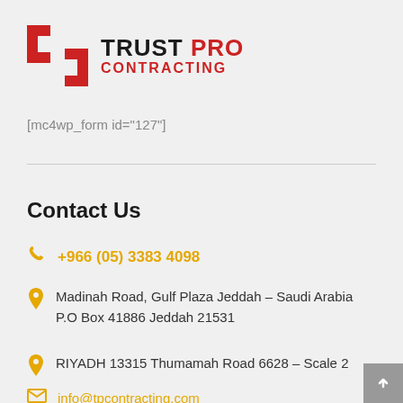[Figure (logo): Trust Pro Contracting company logo with red geometric bracket icon on the left and company name text on the right]
[mc4wp_form id="127"]
Contact Us
+966 (05) 3383 4098
Madinah Road, Gulf Plaza Jeddah – Saudi Arabia P.O Box 41886 Jeddah 21531
RIYADH 13315 Thumamah Road 6628 – Scale 2
info@tpcontracting.com